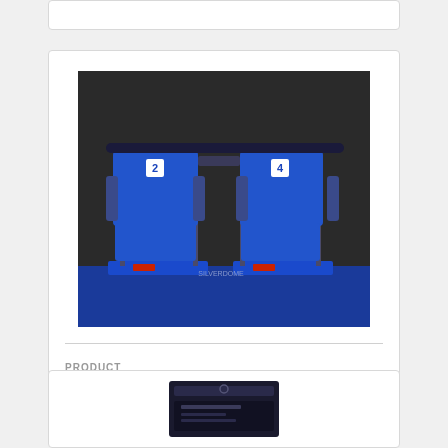[Figure (photo): Two blue stadium seats with base, from Pontiac Silverdome]
PRODUCT
Official Pontiac Silverdome Double Full Seats With Base
$399.99
[Figure (photo): Partially visible product in dark packaging at bottom of page]